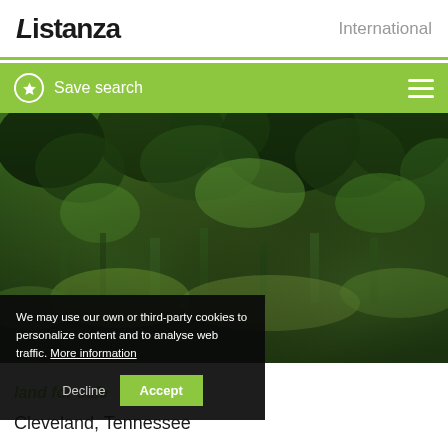Listanza | International
Save search
[Figure (photo): Outdoor photograph of dense forest and shrubland vegetation with green foliage, trees, and wild plants in a natural woodland setting]
We may use our own or third-party cookies to personalize content and to analyse web traffic. More information
land for sale
Cleveland, Tennessee